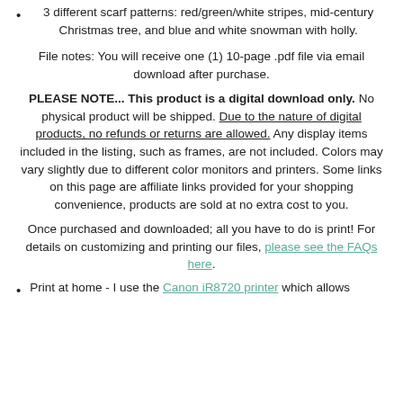3 different scarf patterns: red/green/white stripes, mid-century Christmas tree, and blue and white snowman with holly.
File notes: You will receive one (1) 10-page .pdf file via email download after purchase.
PLEASE NOTE... This product is a digital download only. No physical product will be shipped. Due to the nature of digital products, no refunds or returns are allowed. Any display items included in the listing, such as frames, are not included. Colors may vary slightly due to different color monitors and printers. Some links on this page are affiliate links provided for your shopping convenience, products are sold at no extra cost to you.
Once purchased and downloaded; all you have to do is print! For details on customizing and printing our files, please see the FAQs here.
Print at home - I use the Canon iR8720 printer which allows